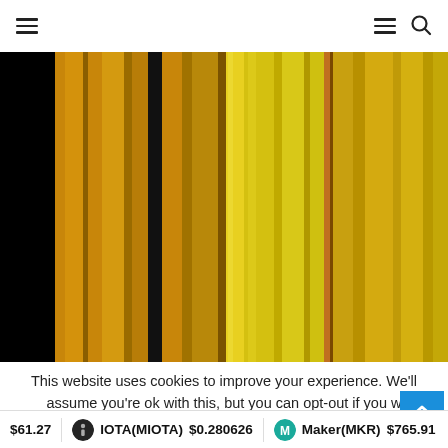Navigation header with hamburger menu and search icon
[Figure (photo): Abstract vertical stripes in gold, yellow, amber, black and brown tones — decorative header image for a finance/crypto website]
This website uses cookies to improve your experience. We'll assume you're ok with this, but you can opt-out if you w
$61.27  IOTA(MIOTA) $0.280626  Maker(MKR) $765.91